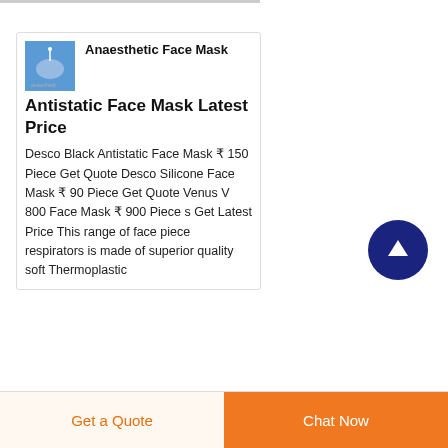[Figure (screenshot): Product card thumbnail showing anaesthetic face mask product image with blue background]
Anaesthetic Face MaskAntistatic Face Mask Latest Price
Desco Black Antistatic Face Mask ₹ 150 Piece Get Quote Desco Silicone Face Mask ₹ 90 Piece Get Quote Venus V 800 Face Mask ₹ 900 Piece s Get Latest Price This range of face piece respirators is made of superior quality soft Thermoplastic
Get a Quote
Chat Now